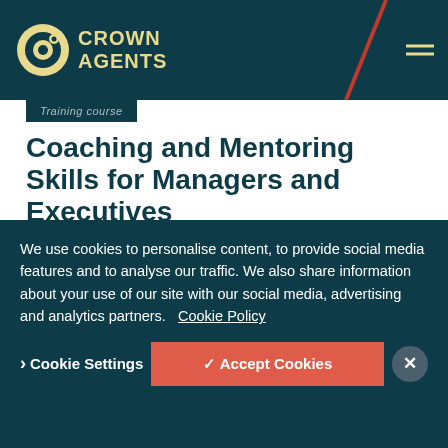[Figure (logo): Crown Agents logo with circular emblem and text CROWN AGENTS on dark teal header background]
Training course
Coaching and Mentoring Skills for Managers and Executives
Training and Professional Development / Training and Professional Development
Course duration: TBC
London, United Kingdom Start date: 5th September 2022
We use cookies to personalise content, to provide social media features and to analyse our traffic. We also share information about your use of our site with our social media, advertising and analytics partners.  Cookie Policy
Cookie Settings
✓ Accept Cookies